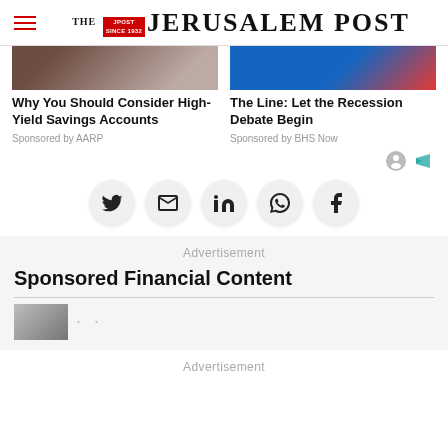THE JERUSALEM POST
[Figure (photo): Thumbnail image for article about high-yield savings accounts]
Why You Should Consider High-Yield Savings Accounts
Sponsored by AARP
[Figure (photo): Thumbnail image for article about recession debate]
The Line: Let the Recession Debate Begin
Sponsored by BHS Now
[Figure (infographic): Social share buttons: Twitter, Email, LinkedIn, WhatsApp, Facebook]
Advertisement
Sponsored Financial Content
Advertisement